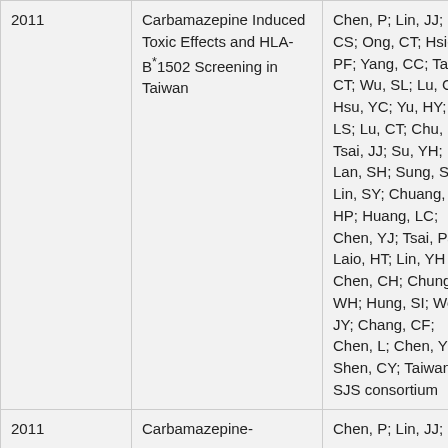| Year | Title | Authors |
| --- | --- | --- |
| 2011 | Carbamazepine Induced Toxic Effects and HLA-B*1502 Screening in Taiwan | Chen, P; Lin, JJ; CS; Ong, CT; Hsie PF; Yang, CC; Ta CT; Wu, SL; Lu, C Hsu, YC; Yu, HY; R LS; Lu, CT; Chu, C Tsai, JJ; Su, YH; Lan, SH; Sung, S Lin, SY; Chuang, HP; Huang, LC; Chen, YJ; Tsai, PJ Laio, HT; Lin, YH Chen, CH; Chung WH; Hung, SI; Wo JY; Chang, CF; Chen, L; Chen, Y Shen, CY; Taiwan SJS consortium |
| 2011 | Carbamazepine-Induced... | Chen, P; Lin, JJ;... |